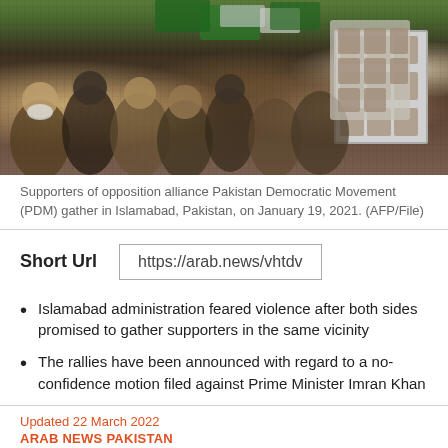[Figure (photo): Crowd of supporters of opposition alliance Pakistan Democratic Movement (PDM) gathering in Islamabad, Pakistan. People wearing masks and traditional dress, holding green flags and a poster board with faces. Taken January 19, 2021.]
Supporters of opposition alliance Pakistan Democratic Movement (PDM) gather in Islamabad, Pakistan, on January 19, 2021. (AFP/File)
Short Url   https://arab.news/vhtdv
Islamabad administration feared violence after both sides promised to gather supporters in the same vicinity
The rallies have been announced with regard to a no-confidence motion filed against Prime Minister Imran Khan
Updated 22 March 2022
ARAB NEWS PAKISTAN
March 21, 2022 17:41